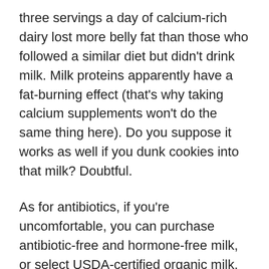three servings a day of calcium-rich dairy lost more belly fat than those who followed a similar diet but didn't drink milk. Milk proteins apparently have a fat-burning effect (that's why taking calcium supplements won't do the same thing here). Do you suppose it works as well if you dunk cookies into that milk? Doubtful.
As for antibiotics, if you're uncomfortable, you can purchase antibiotic-free and hormone-free milk, or select USDA-certified organic milk. These cows feast on organic feed and pesticide-free grass. Some studies have found that organic milk contains higher